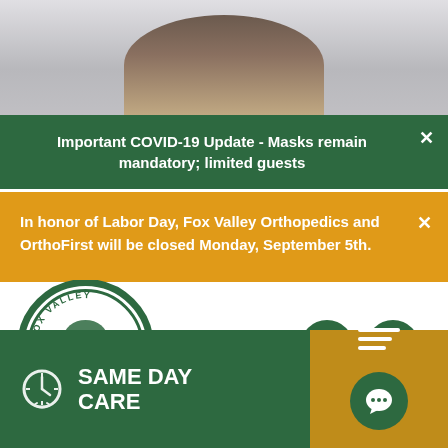[Figure (photo): Top portion of a person's head with brown hair, partially visible, cropped at the forehead]
Important COVID-19 Update - Masks remain mandatory; limited guests
In honor of Labor Day, Fox Valley Orthopedics and OrthoFirst will be closed Monday, September 5th.
[Figure (logo): Fox Valley Orthopedics circular logo with a tree and fox illustration, surrounded by text FOX VALLEY ORTHOPEDICS]
SAME DAY CARE